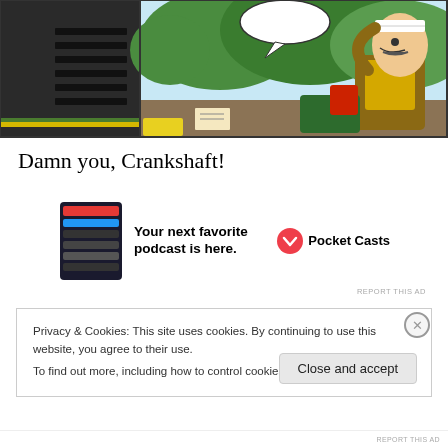[Figure (illustration): Comic strip panel showing a man in a brown jacket and yellow vest with a bandage on his head, looking shocked or surprised, outdoors with trees in background. Left side shows a dark panel with horizontal vents (like a vehicle). Colorful scene with green, red, yellow details.]
Damn you, Crankshaft!
[Figure (screenshot): Pocket Casts advertisement. Shows a dark mobile app screenshot on the left, text 'Your next favorite podcast is here.' in the center, and the Pocket Casts logo (red spiral icon) with 'Pocket Casts' brand name on the right.]
REPORT THIS AD
Privacy & Cookies: This site uses cookies. By continuing to use this website, you agree to their use.
To find out more, including how to control cookies, see here: Cookie Policy
Close and accept